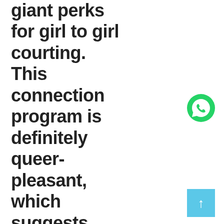giant perks for girl to girl courting. This connection program is definitely queer-pleasant, which suggests ladies who look for females have got crucial solutions to fulfill the company's
[Figure (logo): WhatsApp green phone icon]
[Figure (other): Light blue square button with white upward arrow]